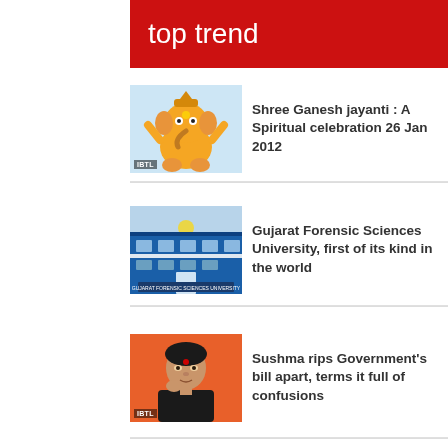top trend
[Figure (photo): Illustration of Lord Ganesha in orange/yellow colors with IBTL badge]
Shree Ganesh jayanti : A Spiritual celebration 26 Jan 2012
[Figure (photo): Photo of Gujarat Forensic Sciences University building exterior, blue facade with signage]
Gujarat Forensic Sciences University, first of its kind in the world
[Figure (photo): Photo of a woman (Sushma Swaraj) with orange background and IBTL badge]
Sushma rips Government's bill apart, terms it full of confusions
[Figure (photo): Photo of a political gathering with people and saffron/orange flags]
Be The Change That You Want to See - A Call to youth of India